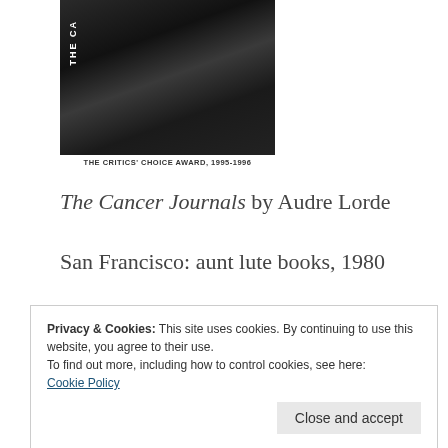[Figure (photo): Black and white photo of a person on a book cover, with text 'THE CA...' visible vertically on the left side]
THE CRITICS' CHOICE AWARD, 1995-1996
The Cancer Journals by Audre Lorde
San Francisco: aunt lute books, 1980
Privacy & Cookies: This site uses cookies. By continuing to use this website, you agree to their use.
To find out more, including how to control cookies, see here:
Cookie Policy
Close and accept